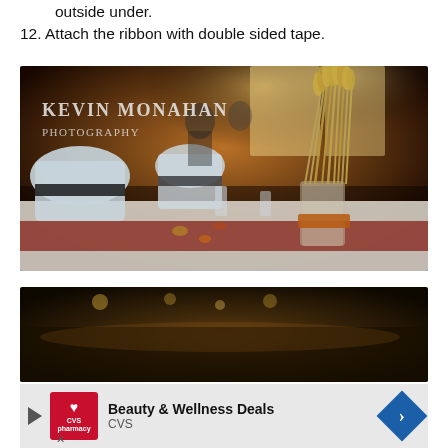outside under.
12. Attach the ribbon with double sided tape.
[Figure (photo): Wedding reception venue photo by Kevin Monahan Photography. Shows tables set with white chair covers and black sashes, a wheat sheaf centerpiece tied with orange ribbon in a glass vase, table runners in deep red/orange. Background shows guests and warm ambient lighting. Watermark text reads 'Kevin Monahan Photography'.]
[Figure (photo): Partially visible photo showing a dark scene, appears to be event/venue related.]
[Figure (other): Advertisement banner: CVS pharmacy Beauty & Wellness Deals ad with red CVS logo, play button, and blue diamond arrow button. Close button (X) at bottom left.]